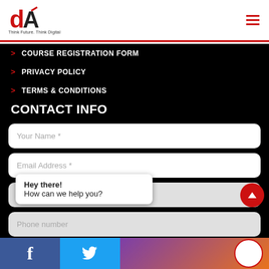[Figure (logo): DA logo with red 'd' and black 'A', tagline: Think Future. Think Digital]
COURSE REGISTRATION FORM
PRIVACY POLICY
TERMS & CONDITIONS
CONTACT INFO
Your Name *
Email Address *
India (+91)
Phone number
Hey there!
How can we help you?